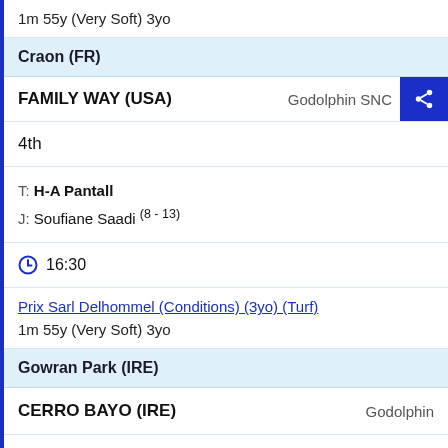1m 55y (Very Soft) 3yo
Craon (FR)
FAMILY WAY (USA)   Godolphin SNC
4th
T: H-A Pantall
J: Soufiane Saadi (8 - 13)
16:30
Prix Sarl Delhommel (Conditions) (3yo) (Turf)
1m 55y (Very Soft) 3yo
Gowran Park (IRE)
CERRO BAYO (IRE)   Godolphin
3rd